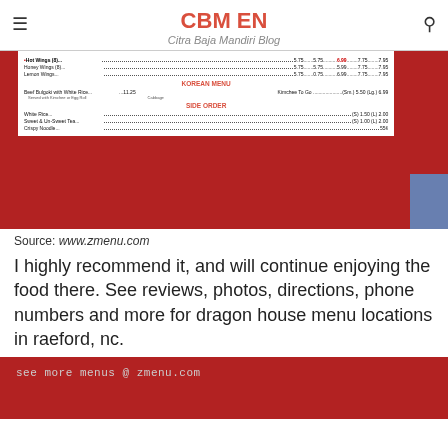CBM EN
Citra Baja Mandiri Blog
[Figure (photo): Photo of a restaurant menu showing Korean Menu and Side Order sections on a white paper menu, placed on a red table. Menu items include Hot Wings, Honey Wings, Lemon Wings, Beef Bulgoki with White Rice, Kimchee To Go, White Rice, Sweet & Un-Sweet Tea, Crispy Noodle with prices.]
Source: www.zmenu.com
I highly recommend it, and will continue enjoying the food there. See reviews, photos, directions, phone numbers and more for dragon house menu locations in raeford, nc.
see more menus @ zmenu.com